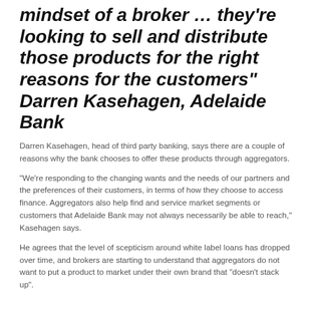mindset of a broker … they're looking to sell and distribute those products for the right reasons for the customers" Darren Kasehagen, Adelaide Bank
Darren Kasehagen, head of third party banking, says there are a couple of reasons why the bank chooses to offer these products through aggregators.
“We’re responding to the changing wants and the needs of our partners and the preferences of their customers, in terms of how they choose to access finance. Aggregators also help find and service market segments or customers that Adelaide Bank may not always necessarily be able to reach,” Kasehagen says.
He agrees that the level of scepticism around white label loans has dropped over time, and brokers are starting to understand that aggregators do not want to put a product to market under their own brand that “doesn’t stack up”.